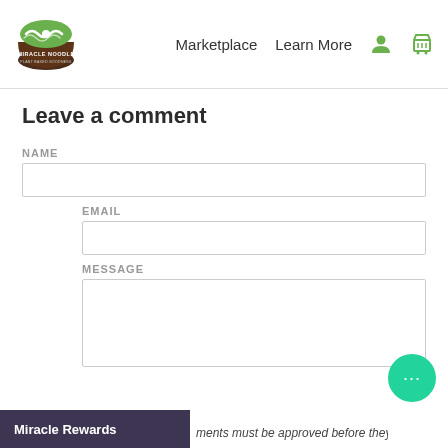Miracle Noodle — Marketplace   Learn More
Leave a comment
NAME
EMAIL
MESSAGE
Miracle Rewards
ments must be approved before they